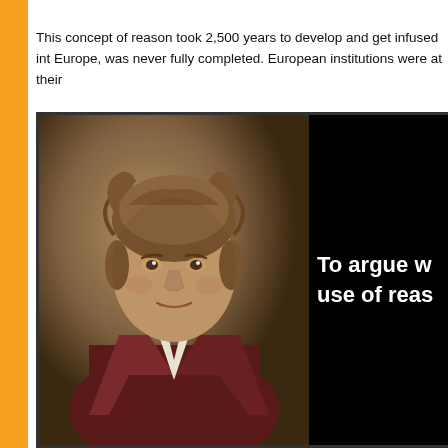This concept of reason took 2,500 years to develop and get infused int Europe, was never fully completed. European institutions were at their
[Figure (photo): Portrait painting of Thomas Paine on the left half of a black background image. The right half shows white bold text on black: 'To argue w use of reas' (partially visible, text continues off-page).]